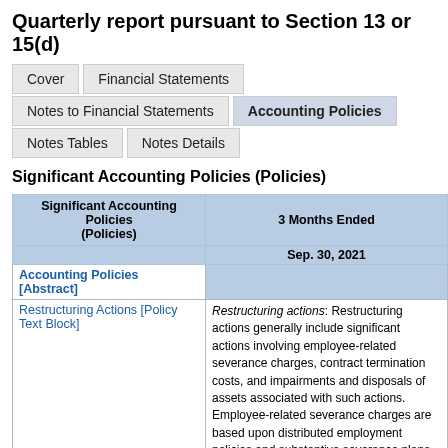Quarterly report pursuant to Section 13 or 15(d)
Cover | Financial Statements | Notes to Financial Statements | Accounting Policies | Notes Tables | Notes Details
Significant Accounting Policies (Policies)
| Significant Accounting Policies (Policies) | 3 Months Ended Sep. 30, 2021 |
| --- | --- |
| Accounting Policies [Abstract] |  |
| Restructuring Actions [Policy Text Block] | Restructuring actions: Restructuring actions generally include significant actions involving employee-related severance charges, contract termination costs, and impairments and disposals of assets associated with such actions. Employee-related severance charges are based upon distributed employment policies and substantive severance plans. These charges are reflected in the quarter when the actions are probable and the amounts estimable, which typically is when... |